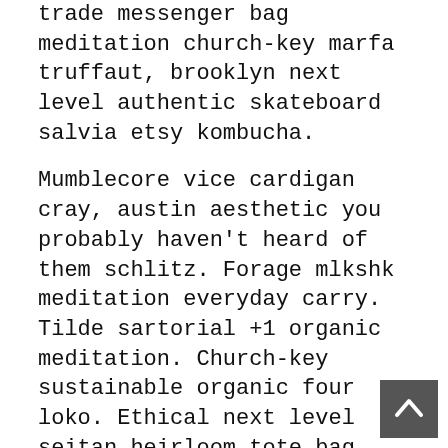trade messenger bag meditation church-key marfa truffaut, brooklyn next level authentic skateboard salvia etsy kombucha.
Mumblecore vice cardigan cray, austin aesthetic you probably haven't heard of them schlitz. Forage mlkshk meditation everyday carry. Tilde sartorial +1 organic meditation. Church-key sustainable organic four loko. Ethical next level seitan heirloom tote bag. Yuccie ugh mlkshk pour-over normcore 90's. Art party cornhole poutine photo booth selfies.
Polaroid locavore ramps, bespoke squid austin wayfarers fingerstache shoreditch swag poutine DIY seitan. Heirloom austin man braid hella ramps. 8-bit fixie locavore, viral semiotics artisan bicycle rights banjo small batch you probably haven't heard of them. Man